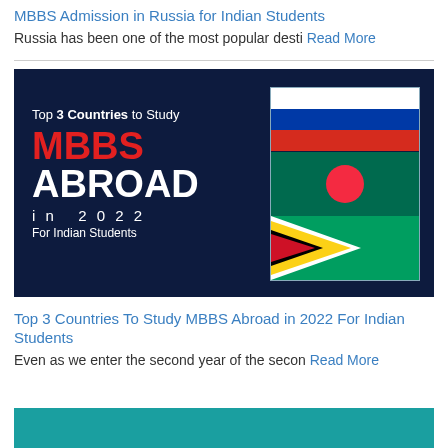MBBS Admission in Russia for Indian Students
Russia has been one of the most popular desti Read More
[Figure (infographic): Dark navy blue infographic showing 'Top 3 Countries to Study MBBS ABROAD in 2022 For Indian Students' with flags of Russia, Bangladesh, and Guyana on the right side]
Top 3 Countries To Study MBBS Abroad in 2022 For Indian Students
Even as we enter the second year of the secon Read More